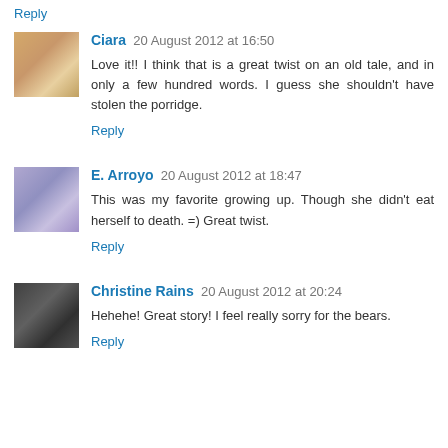Reply
Ciara 20 August 2012 at 16:50
Love it!! I think that is a great twist on an old tale, and in only a few hundred words. I guess she shouldn't have stolen the porridge.
Reply
E. Arroyo 20 August 2012 at 18:47
This was my favorite growing up. Though she didn't eat herself to death. =) Great twist.
Reply
Christine Rains 20 August 2012 at 20:24
Hehehe! Great story! I feel really sorry for the bears.
Reply